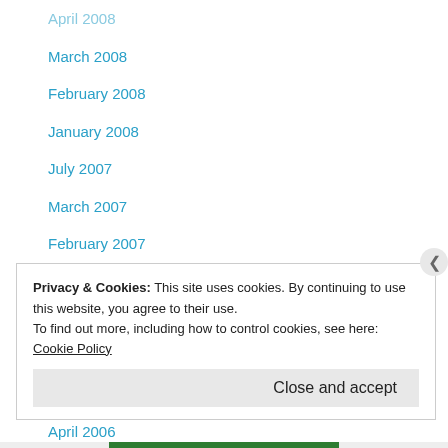April 2008
March 2008
February 2008
January 2008
July 2007
March 2007
February 2007
January 2007
October 2006
September 2006
August 2006
April 2006
March 2006
December 2005
October 2005
Privacy & Cookies: This site uses cookies. By continuing to use this website, you agree to their use.
To find out more, including how to control cookies, see here: Cookie Policy
Close and accept